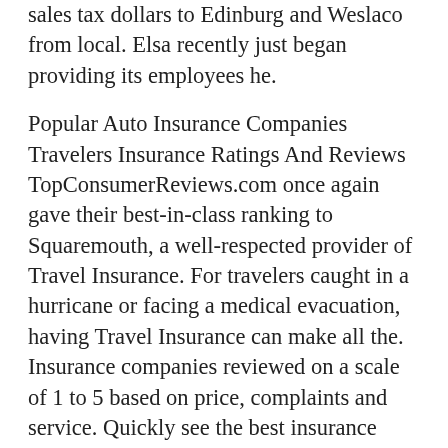sales tax dollars to Edinburg and Weslaco from local. Elsa recently just began providing its employees he.
Popular Auto Insurance Companies Travelers Insurance Ratings And Reviews TopConsumerReviews.com once again gave their best-in-class ranking to Squaremouth, a well-respected provider of Travel Insurance. For travelers caught in a hurricane or facing a medical evacuation, having Travel Insurance can make all the. Insurance companies reviewed on a scale of 1 to 5 based on price, complaints and service. Quickly see the best insurance companies
Group A will be played in Cary, North Carolina, while Group B will be played in Edinburg, Texas. “The final stage will take place in Frisco, Texas, and the top three teams will qualify as representati.